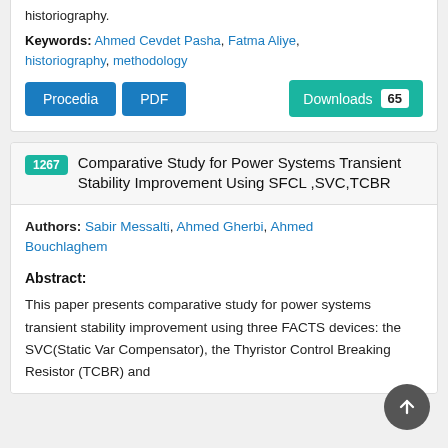historiography.
Keywords: Ahmed Cevdet Pasha, Fatma Aliye, historiography, methodology
Procedia  PDF  Downloads 65
1267 Comparative Study for Power Systems Transient Stability Improvement Using SFCL ,SVC,TCBR
Authors: Sabir Messalti, Ahmed Gherbi, Ahmed Bouchlaghem
Abstract:
This paper presents comparative study for power systems transient stability improvement using three FACTS devices: the SVC(Static Var Compensator), the Thyristor Control Breaking Resistor (TCBR) and